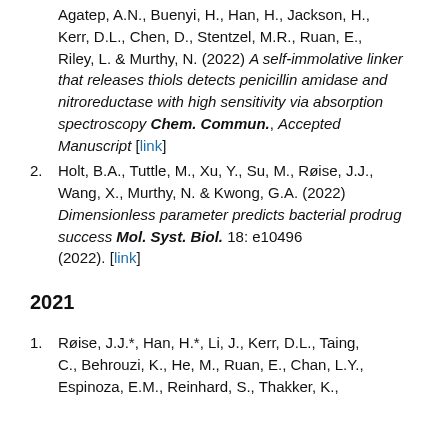Agatep, A.N., Buenyi, H., Han, H., Jackson, H., Kerr, D.L., Chen, D., Stentzel, M.R., Ruan, E., Riley, L. & Murthy, N. (2022) A self-immolative linker that releases thiols detects penicillin amidase and nitroreductase with high sensitivity via absorption spectroscopy Chem. Commun., Accepted Manuscript [link]
2. Holt, B.A., Tuttle, M., Xu, Y., Su, M., Røise, J.J., Wang, X., Murthy, N. & Kwong, G.A. (2022) Dimensionless parameter predicts bacterial prodrug success Mol. Syst. Biol. 18: e10496 (2022). [link]
2021
1. Røise, J.J.*, Han, H.*, Li, J., Kerr, D.L., Taing, C., Behrouzi, K., He, M., Ruan, E., Chan, L.Y., Espinoza, E.M., Reinhard, S., Thakker, K.,